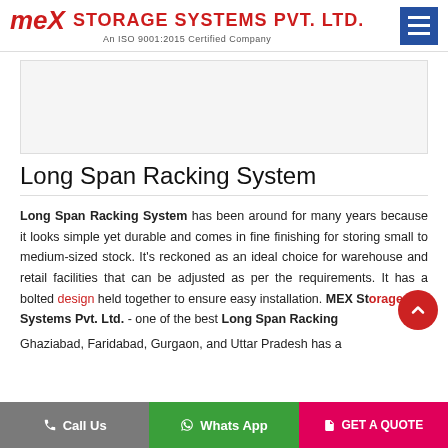MEX STORAGE SYSTEMS PVT. LTD. An ISO 9001:2015 Certified Company
[Figure (photo): Product or company image placeholder area]
Long Span Racking System
Long Span Racking System has been around for many years because it looks simple yet durable and comes in fine finishing for storing small to medium-sized stock. It's reckoned as an ideal choice for warehouse and retail facilities that can be adjusted as per the requirements. It has a bolted design held together to ensure easy installation. MEX Storage Systems Pvt. Ltd. - one of the best Long Span Racking ... Ghaziabad, Faridabad, Gurgaon, and Uttar Pradesh has a
Call Us | Whats App | GET A QUOTE